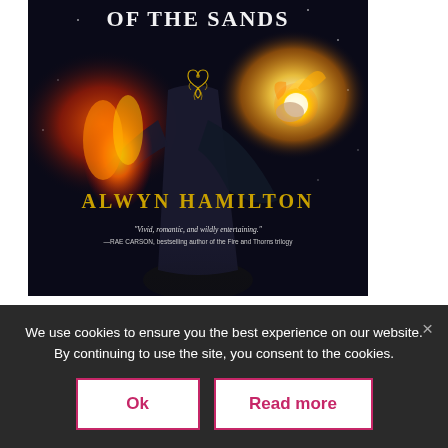[Figure (illustration): Book cover of 'Rebel of the Sands' by Alwyn Hamilton. Dark fantasy cover with a figure in a dark cape surrounded by fire/flames, gold ornamental design in center, title text at top in white, author name in gold at bottom, and a blurb from Rae Carson.]
Amani would give anything to get her way out of
We use cookies to ensure you the best experience on our website. By continuing to use the site, you consent to the cookies.
Ok
Read more